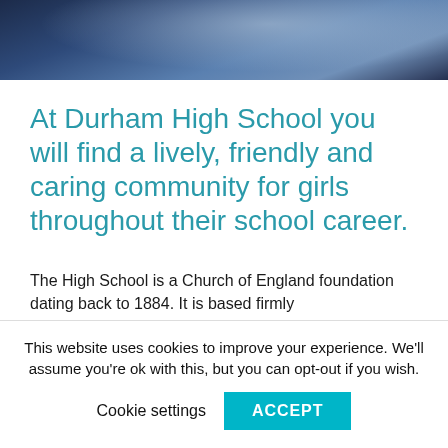[Figure (photo): Partial photo of a student in a light blue shirt, viewed from behind/side, with a dark background. Only the top portion of the image is visible.]
At Durham High School you will find a lively, friendly and caring community for girls throughout their school career.
The High School is a Church of England foundation dating back to 1884. It is based firmly
This website uses cookies to improve your experience. We'll assume you're ok with this, but you can opt-out if you wish.
Cookie settings   ACCEPT